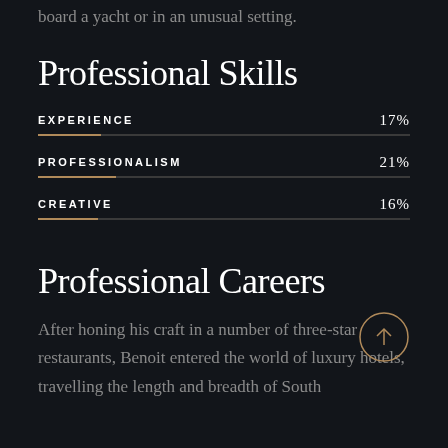board a yacht or in an unusual setting.
Professional Skills
[Figure (infographic): Three horizontal skill bars showing EXPERIENCE 17%, PROFESSIONALISM 21%, CREATIVE 16% on dark background with gold/tan colored bar fills]
Professional Careers
After honing his craft in a number of three-star restaurants, Benoit entered the world of luxury hotels, travelling the length and breadth of South